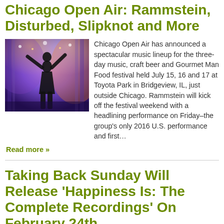Chicago Open Air: Rammstein, Disturbed, Slipknot and More
[Figure (photo): Concert performer on stage with arms raised, purple and orange stage lighting]
Chicago Open Air has announced a spectacular music lineup for the three-day music, craft beer and Gourmet Man Food festival held July 15, 16 and 17 at Toyota Park in Bridgeview, IL, just outside Chicago. Rammstein will kick off the festival weekend with a headlining performance on Friday–the group's only 2016 U.S. performance and first… Read more »
Taking Back Sunday Will Release 'Happiness Is: The Complete Recordings' On February 24th